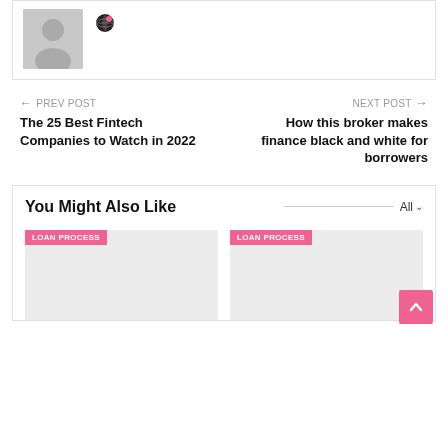[Figure (illustration): User avatar placeholder (gray silhouette) with a small globe/world icon badge next to it]
← PREV POST
The 25 Best Fintech Companies to Watch in 2022
NEXT POST →
How this broker makes finance black and white for borrowers
You Might Also Like
[Figure (illustration): Thumbnail image card with pink LOAN PROCESS badge at top left, gray placeholder background]
[Figure (illustration): Thumbnail image card with pink LOAN PROCESS badge at top left, gray placeholder background]